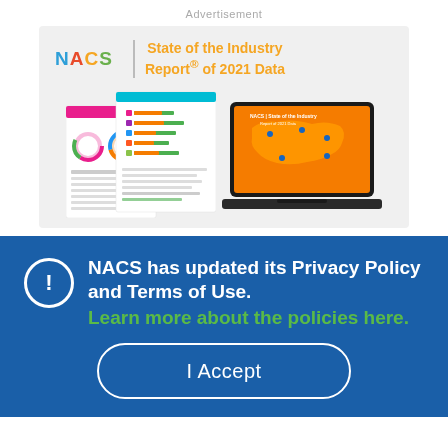Advertisement
[Figure (illustration): NACS State of the Industry Report of 2021 Data advertisement banner showing report pages and a laptop with a US map graphic]
NACS has updated its Privacy Policy and Terms of Use.
Learn more about the policies here.
I Accept